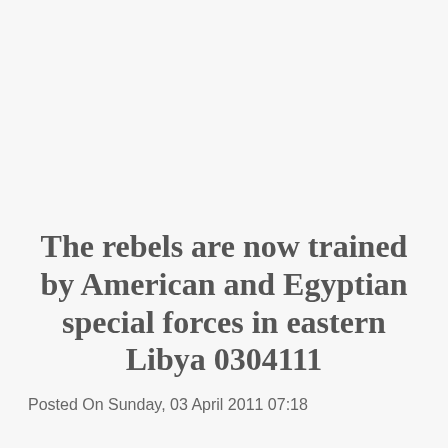The rebels are now trained by American and Egyptian special forces in eastern Libya 0304111
Posted On Sunday, 03 April 2011 07:18